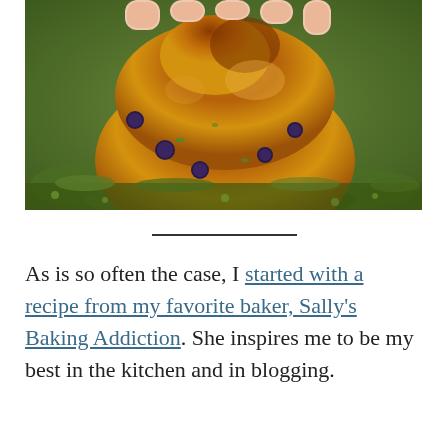[Figure (photo): Close-up photograph of a blueberry muffin being held, showing a golden-brown top with blueberries visible, placed on a green mossy or herbed surface.]
As is so often the case, I started with a recipe from my favorite baker, Sally's Baking Addiction. She inspires me to be my best in the kitchen and in blogging.